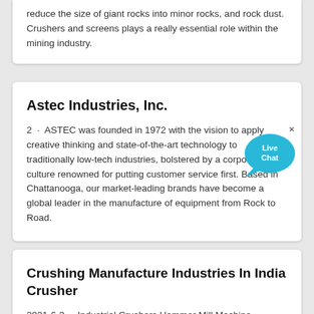reduce the size of giant rocks into minor rocks, and rock dust. Crushers and screens plays a really essential role within the mining industry.
Astec Industries, Inc.
2 · ASTEC was founded in 1972 with the vision to apply creative thinking and state-of-the-art technology to traditionally low-tech industries, bolstered by a corporate culture renowned for putting customer service first. Based in Chattanooga, our market-leading brands have become a global leader in the manufacture of equipment from Rock to Road.
Crushing Manufacture Industries In India Crusher
2021-6-3 · Industrial Crushers Hammer Mill Machine